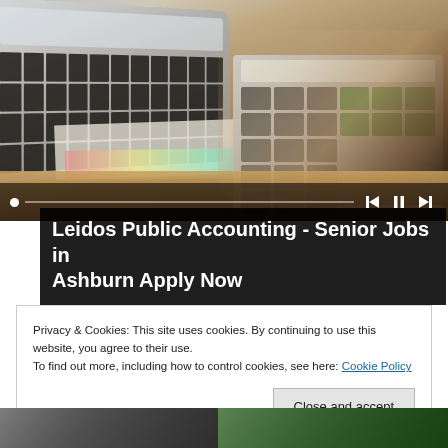[Figure (photo): Office desk scene with a laptop keyboard on the left, a large calculator with someone's hand pressing keys on the right, papers and colorful charts underneath, on a wooden desk surface. Playback control bar overlaid at bottom of image.]
Leidos Public Accounting - Senior Jobs in Ashburn Apply Now
Privacy & Cookies: This site uses cookies. By continuing to use this website, you agree to their use.
To find out more, including how to control cookies, see here: Cookie Policy
Close and accept
[Figure (photo): Partial image of a person in dark clothing, bottom strip left side]
[Figure (photo): Partial image with green/outdoor tones, bottom strip right side]